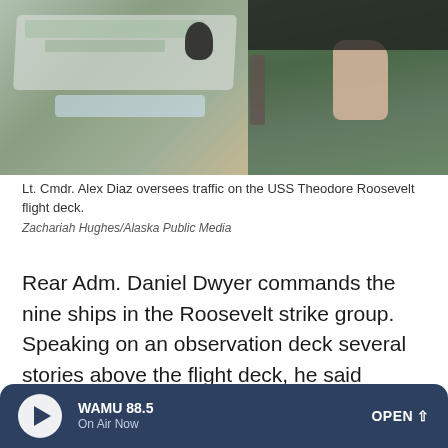[Figure (photo): Lt. Cmdr. Alex Diaz oversees traffic on the USS Theodore Roosevelt flight deck. A person in a military green flight jacket is visible on the right, with a table covered in items and a microphone visible on the left.]
Lt. Cmdr. Alex Diaz oversees traffic on the USS Theodore Roosevelt flight deck.
Zachariah Hughes/Alaska Public Media
Rear Adm. Daniel Dwyer commands the nine ships in the Roosevelt strike group. Speaking on an observation deck several stories above the flight deck, he said climate change is adding a new urgency to training like this one as marine activity increases in Arctic waters.
WAMU 88.5 On Air Now OPEN ^